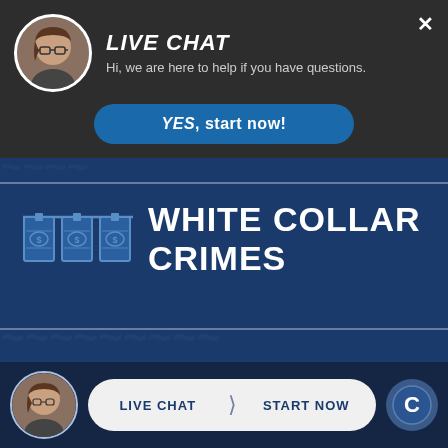[Figure (screenshot): Live chat popup overlay with agent avatar photo, heading 'LIVE CHAT', subtitle 'Hi, we are here to help if you have questions.', and a blue rounded button reading 'YES, start now!']
WHITE COLLAR CRIMES
[Figure (illustration): Money/bills icon illustration in blue outline style, showing hanging bank notes on a clothesline]
[Figure (screenshot): Bottom live chat bar with agent avatar photo, white rounded button with 'LIVE CHAT | START NOW' text, and a circular logo icon on the right]